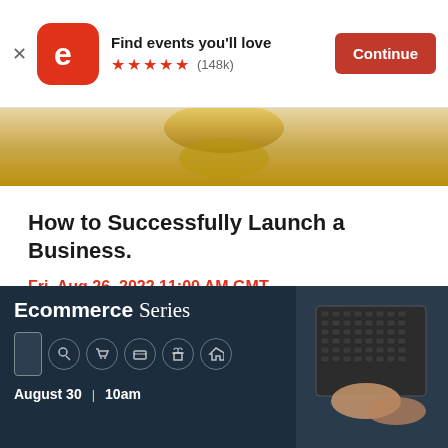[Figure (screenshot): Eventbrite app banner with logo, 'Find events you’ll love', 5 star rating (148k), and Continue button]
[Figure (photo): Partial event image showing gold/yellow decorative element]
How to Successfully Launch a Business.
Fri, Aug 26, 2022 11:00 AM GMT
£150
[Figure (photo): Ecommerce Series event banner showing bold title 'Ecommerce Series', icons for phone, search, cart, card, gift, home, laptop with hands typing, date August 30 at 10am]